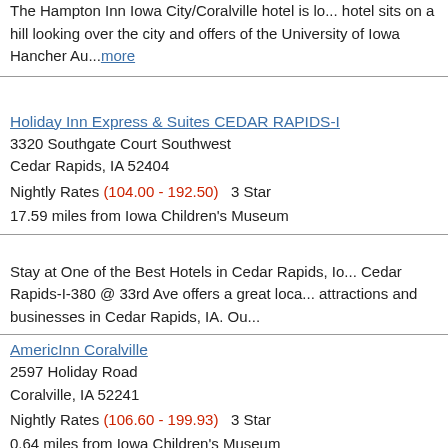The Hampton Inn Iowa City/Coralville hotel is lo... hotel sits on a hill looking over the city and offers of the University of Iowa Hancher Au...more
Holiday Inn Express & Suites CEDAR RAPIDS-I
3320 Southgate Court Southwest
Cedar Rapids, IA 52404
Nightly Rates (104.00 - 192.50)  3 Star
17.59 miles from Iowa Children's Museum
Stay at One of the Best Hotels in Cedar Rapids, Io... Cedar Rapids-I-380 @ 33rd Ave offers a great loca... attractions and businesses in Cedar Rapids, IA. Ou...
AmericInn Coralville
2597 Holiday Road
Coralville, IA 52241
Nightly Rates (106.60 - 199.93)  3 Star
0.64 miles from Iowa Children's Museum
Welcome to the AmericInn Coralville, Iowa locate... to serve you with the amenities you want and nee... sleep. We have a variety of room typ...more
Hampton Inn Cedar Rapids
3265 6th Street SW